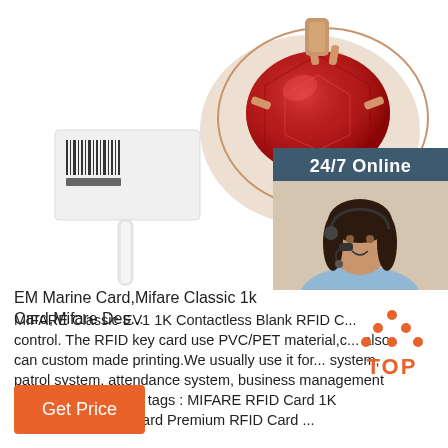[Figure (photo): Product image showing a jewelry pendant with red gemstone and rose gold setting with small diamonds, plus a white RFID/barcode tag. Right side overlay shows a 24/7 online customer support panel with a woman wearing a headset, a 'Click here for free chat!' button, and a 'QUOTATION' button in orange.]
EM Marine Card,Mifare Classic 1k Card,Mifare Des...
MIFARE Classic EV1 1K Contactless Blank RFID C... control. The RFID key card use PVC/PET material,c... also can custom made printing.We usually use it for... system, patrol system, attendance system, business management system, and etc. hot tags : MIFARE RFID Card 1K Contactless RFID Card Premium RFID Card ...
[Figure (logo): TOP badge icon with orange dots forming an upward arrow/triangle shape above the word TOP in orange bold text]
Get Price